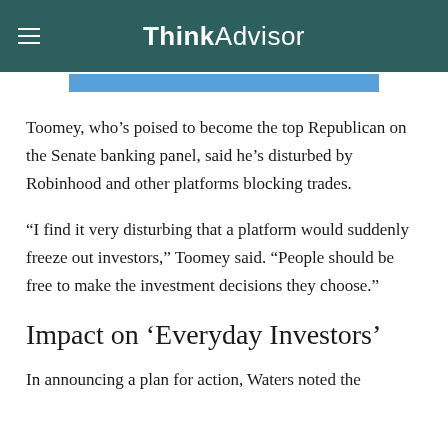ThinkAdvisor
Toomey, who’s poised to become the top Republican on the Senate banking panel, said he’s disturbed by Robinhood and other platforms blocking trades.
“I find it very disturbing that a platform would suddenly freeze out investors,” Toomey said. “People should be free to make the investment decisions they choose.”
Impact on ‘Everyday Investors’
In announcing a plan for action, Waters noted the